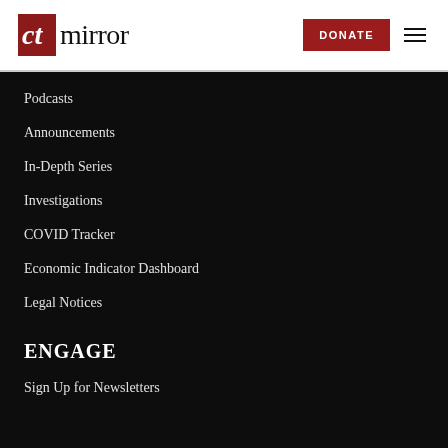CT Mirror — DONATE [hamburger menu]
Podcasts
Announcements
In-Depth Series
Investigations
COVID Tracker
Economic Indicator Dashboard
Legal Notices
ENGAGE
Sign Up for Newsletters